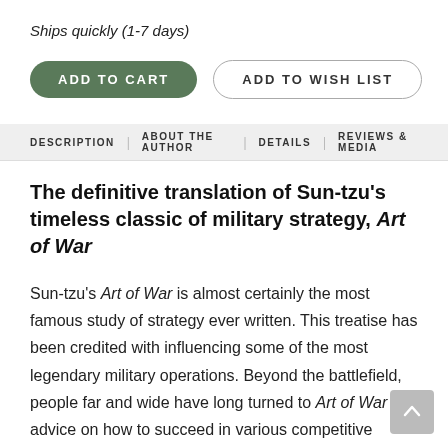Ships quickly (1-7 days)
ADD TO CART
ADD TO WISH LIST
DESCRIPTION | ABOUT THE AUTHOR | DETAILS | REVIEWS & MEDIA
The definitive translation of Sun-tzu's timeless classic of military strategy, Art of War
Sun-tzu's Art of War is almost certainly the most famous study of strategy ever written. This treatise has been credited with influencing some of the most legendary military operations. Beyond the battlefield, people far and wide have long turned to Art of War for advice on how to succeed in various competitive situations, and companies around the